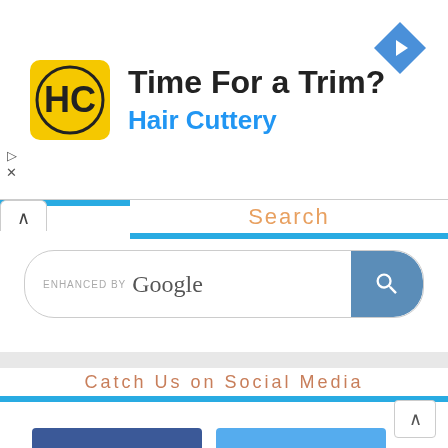[Figure (screenshot): Advertisement banner for Hair Cuttery with logo, text 'Time For a Trim?' and navigation icon]
Search
[Figure (screenshot): Enhanced by Google search bar with search button]
Catch Us on Social Media
[Figure (screenshot): Social media icon buttons: Facebook (blue, f), Twitter (light blue, bird), Google+ (red), YouTube (red)]